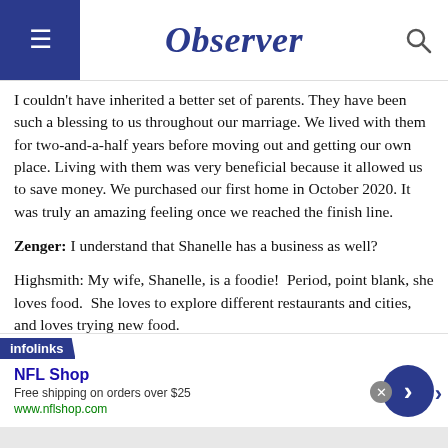Observer
I couldn't have inherited a better set of parents. They have been such a blessing to us throughout our marriage. We lived with them for two-and-a-half years before moving out and getting our own place. Living with them was very beneficial because it allowed us to save money. We purchased our first home in October 2020. It was truly an amazing feeling once we reached the finish line.
Zenger: I understand that Shanelle has a business as well?
Highsmith: My wife, Shanelle, is a foodie! Period, point blank, she loves food. She loves to explore different restaurants and cities, and loves trying new food.
[Figure (screenshot): infolinks advertisement banner for NFL Shop showing free shipping on orders over $25 at www.nflshop.com with a blue circular arrow button]